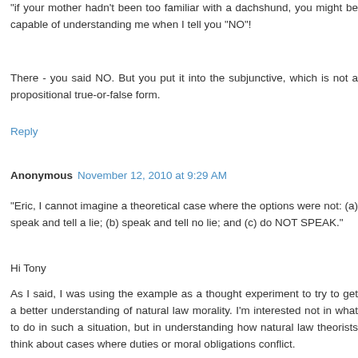"if your mother hadn't been too familiar with a dachshund, you might be capable of understanding me when I tell you "NO"!
There - you said NO. But you put it into the subjunctive, which is not a propositional true-or-false form.
Reply
Anonymous November 12, 2010 at 9:29 AM
"Eric, I cannot imagine a theoretical case where the options were not: (a) speak and tell a lie; (b) speak and tell no lie; and (c) do NOT SPEAK."
Hi Tony
As I said, I was using the example as a thought experiment to try to get a better understanding of natural law morality. I'm interested not in what to do in such a situation, but in understanding how natural law theorists think about cases where duties or moral obligations conflict.